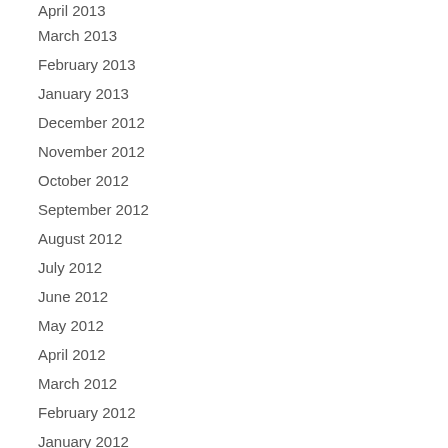April 2013
March 2013
February 2013
January 2013
December 2012
November 2012
October 2012
September 2012
August 2012
July 2012
June 2012
May 2012
April 2012
March 2012
February 2012
January 2012
December 2011
November 2011
October 2011
September 2011
August 2011